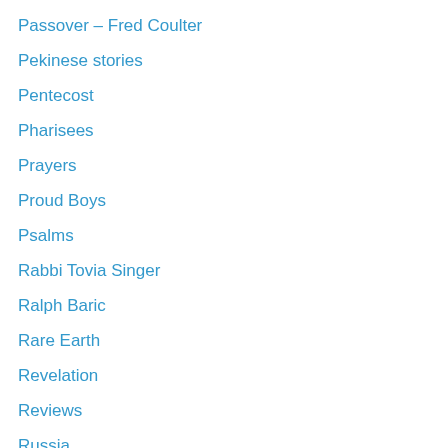Passover – Fred Coulter
Pekinese stories
Pentecost
Pharisees
Prayers
Proud Boys
Psalms
Rabbi Tovia Singer
Ralph Baric
Rare Earth
Revelation
Reviews
Russia
Sabbaths
Sadducees
Samaritans
Scepter
Scriptures
Sects
Septuagint